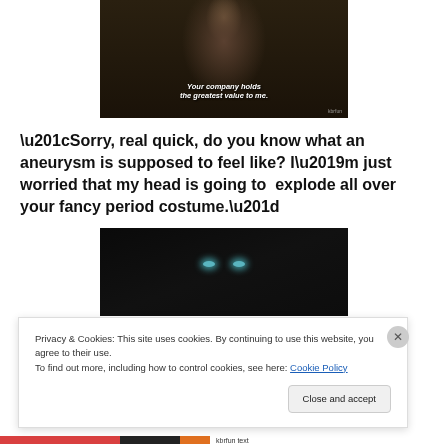[Figure (photo): Dark photo of a bearded man with text overlay reading 'Your company holds the greatest value to me.' and a watermark in the corner.]
“Sorry, real quick, do you know what an aneurysm is supposed to feel like? I’m just worried that my head is going to  explode all over your fancy period costume.”
[Figure (photo): Dark portrait photo showing a face with striking light blue/teal eyes partially visible in darkness, with long hair.]
Privacy & Cookies: This site uses cookies. By continuing to use this website, you agree to their use.
To find out more, including how to control cookies, see here: Cookie Policy